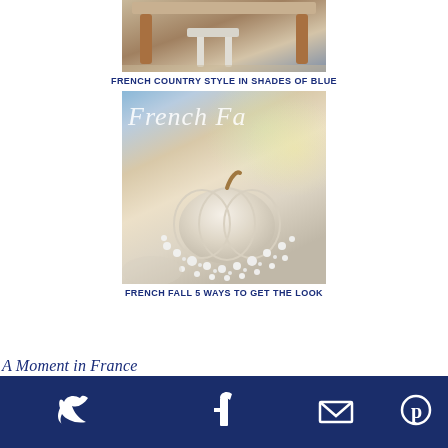[Figure (photo): Partial view of a wooden farmhouse table with a white stool underneath, French country style furniture]
FRENCH COUNTRY STYLE IN SHADES OF BLUE
[Figure (photo): White pumpkin surrounded by baby's breath flowers with 'French Fa...' text overlay, fall decoration]
FRENCH FALL 5 WAYS TO GET THE LOOK
A Moment in France
[Figure (infographic): Dark navy footer bar with social media icons: Twitter bird, Facebook f, envelope/email, Pinterest p]